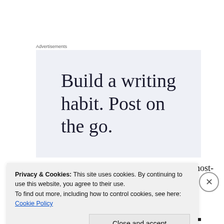Advertisements
[Figure (other): Advertisement banner with text: Build a writing habit. Post on the go.]
I made my playlist based largely on lists of the 100 most-requested songs at wedding dances found online.
Privacy & Cookies: This site uses cookies. By continuing to use this website, you agree to their use.
To find out more, including how to control cookies, see here: Cookie Policy
Close and accept